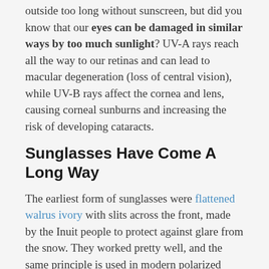outside too long without sunscreen, but did you know that our eyes can be damaged in similar ways by too much sunlight? UV-A rays reach all the way to our retinas and can lead to macular degeneration (loss of central vision), while UV-B rays affect the cornea and lens, causing corneal sunburns and increasing the risk of developing cataracts.
Sunglasses Have Come A Long Way
The earliest form of sunglasses were flattened walrus ivory with slits across the front, made by the Inuit people to protect against glare from the snow. They worked pretty well, and the same principle is used in modern polarized lenses. Non-polarized sunglasses became popular thanks to early film stars, but polarized lenses weren't developed until the mid-1930s.
Over the decades, sunglasses have gone through numerous different styles. The cat-eye frame was made popular in the 1950s by Marilyn Monroe and Andy